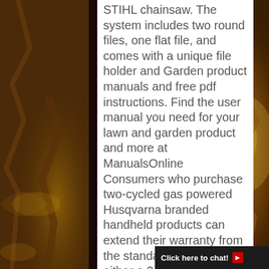[Figure (illustration): Fantasy/game art background with warm amber and brown tones showing rocky formations and a glowing figure on the right side]
STIHL chainsaw. The system includes two round files, one flat file, and comes with a unique file holder and Garden product manuals and free pdf instructions. Find the user manual you need for your lawn and garden product and more at ManualsOnline Consumers who purchase two-cycled gas powered Husqvarna branded handheld products can extend their warranty from the standard 2 years to either a 3 year or 4 year warranty by purchasing Husqvarna brand 2-stroke oil or Husqvarna brand pre-mix fuel at the same time. Use only special saw chain sharpening files. Your STIHL servicing dealer has a wide selection of high quality files
Click here to chat!